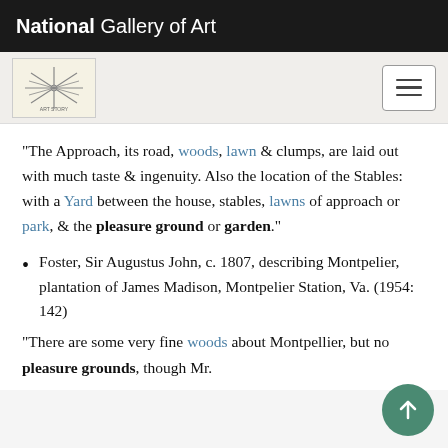National Gallery of Art
"The Approach, its road, woods, lawn & clumps, are laid out with much taste & ingenuity. Also the location of the Stables: with a Yard between the house, stables, lawns of approach or park, & the pleasure ground or garden."
Foster, Sir Augustus John, c. 1807, describing Montpelier, plantation of James Madison, Montpelier Station, Va. (1954: 142)
"There are some very fine woods about Montpellier, but no pleasure grounds, though Mr.